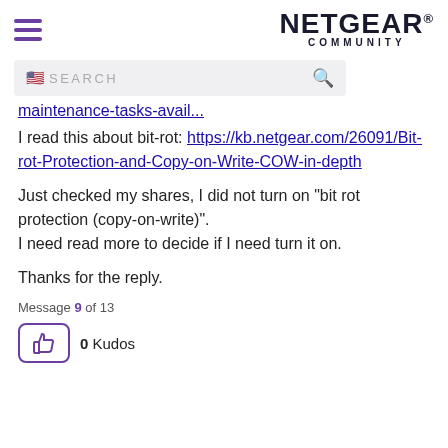NETGEAR COMMUNITY
maintenance-tasks-avail...
I read this about bit-rot: https://kb.netgear.com/26091/Bit-rot-Protection-and-Copy-on-Write-COW-in-depth
Just checked my shares, I did not turn on "bit rot protection (copy-on-write)". I need read more to decide if I need turn it on.
Thanks for the reply.
Message 9 of 13
0 Kudos